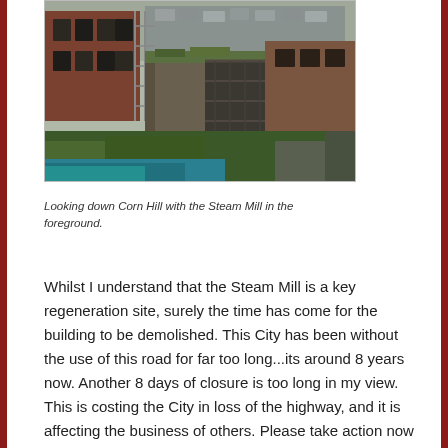[Figure (photo): Aerial or elevated view looking down Corn Hill showing the Steam Mill building in the foreground, with scaffolding, derelict structures, overgrown vegetation, and a car park visible in the background.]
Looking down Corn Hill with the Steam Mill in the foreground.
Whilst I understand that the Steam Mill is a key regeneration site, surely the time has come for the building to be demolished. This City has been without the use of this road for far too long...its around 8 years now. Another 8 days of closure is too long in my view. This is costing the City in loss of the highway, and it is affecting the business of others. Please take action now and bring forward the regeneration of the site. Knock the Steam Mill down and make it safe.